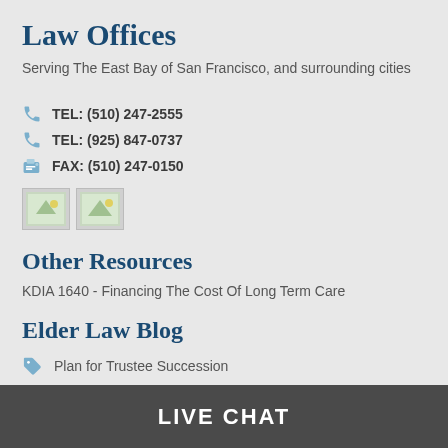Law Offices
Serving The East Bay of San Francisco, and surrounding cities
TEL: (510) 247-2555
TEL: (925) 847-0737
FAX: (510) 247-0150
[Figure (illustration): Two small image icons side by side]
Other Resources
KDIA 1640 - Financing The Cost Of Long Term Care
Elder Law Blog
Plan for Trustee Succession
LIVE CHAT